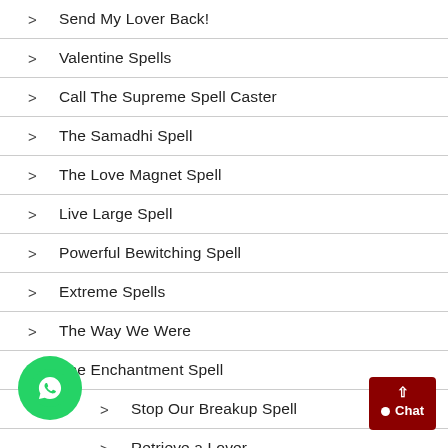Send My Lover Back!
Valentine Spells
Call The Supreme Spell Caster
The Samadhi Spell
The Love Magnet Spell
Live Large Spell
Powerful Bewitching Spell
Extreme Spells
The Way We Were
The Enchantment Spell
Stop Our Breakup Spell
Retrieve a Lover